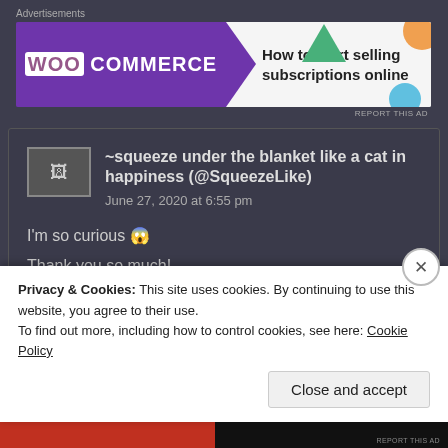Advertisements
[Figure (illustration): WooCommerce advertisement banner: purple left side with WooCommerce logo and green arrow, white right side with text 'How to start selling subscriptions online' and colorful decorative circles.]
~squeeze under the blanket like a cat in happiness (@SqueezeLike)
June 27, 2020 at 6:55 pm
I'm so curious 😱
Thank you so much!
Privacy & Cookies: This site uses cookies. By continuing to use this website, you agree to their use.
To find out more, including how to control cookies, see here: Cookie Policy
Close and accept